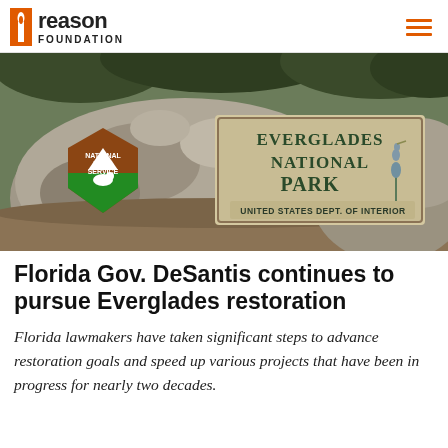reason FOUNDATION
[Figure (photo): Everglades National Park entrance sign mounted on a large rock boulder, with the National Park Service arrowhead emblem on the left. The wooden sign reads 'EVERGLADES NATIONAL PARK - UNITED STATES DEPT. OF INTERIOR' with a heron illustration. Green vegetation in the background.]
Florida Gov. DeSantis continues to pursue Everglades restoration
Florida lawmakers have taken significant steps to advance restoration goals and speed up various projects that have been in progress for nearly two decades.